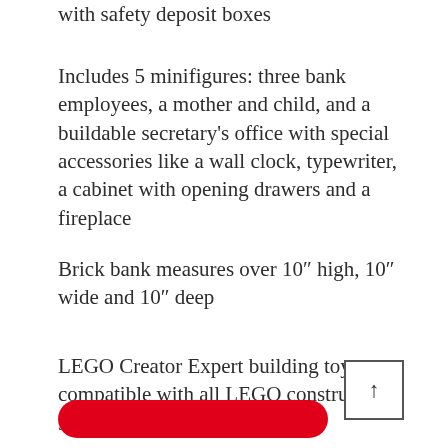with safety deposit boxes
Includes 5 minifigures: three bank employees, a mother and child, and a buildable secretary's office with special accessories like a wall clock, typewriter, a cabinet with opening drawers and a fireplace
Brick bank measures over 10″ high, 10″ wide and 10″ deep
LEGO Creator Expert building toys are compatible with all LEGO construction sets for creative building